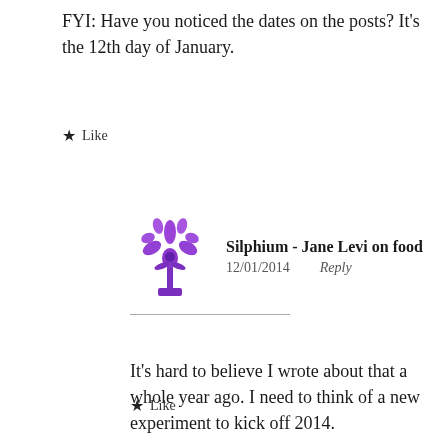FYI: Have you noticed the dates on the posts? It's the 12th day of January.
★ Like
Silphium - Jane Levi on food
12/01/2014   Reply
It's hard to believe I wrote about that a whole year ago. I need to think of a new experiment to kick off 2014.
★ Like